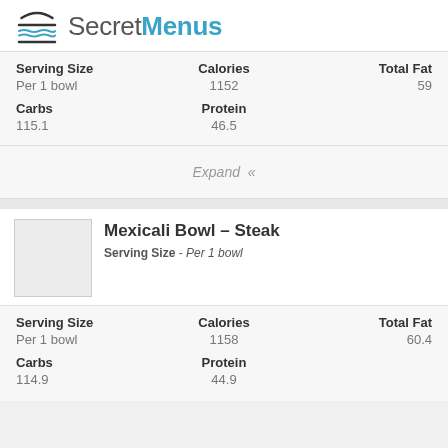SecretMenus
| Serving Size | Calories | Total Fat |
| --- | --- | --- |
| Per 1 bowl | 1152 | 59 |
| Carbs | Protein |  |
| 115.1 | 46.5 |  |
Expand «
Mexicali Bowl – Steak
Serving Size - Per 1 bowl
| Serving Size | Calories | Total Fat |
| --- | --- | --- |
| Per 1 bowl | 1158 | 60.4 |
| Carbs | Protein |  |
| 114.9 | 44.9 |  |